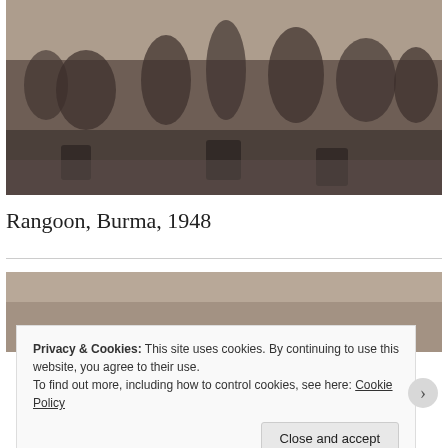[Figure (photo): Black and white historical photograph of a group of people, many partially clothed, gathered around buckets or containers on a wet surface. The scene appears to be an outdoor communal washing or water gathering area in Rangoon, Burma, 1948.]
Rangoon, Burma, 1948
[Figure (photo): Partial view of a second photograph below a horizontal divider line, showing muted sepia/color tones — partially obscured by cookie consent banner.]
Privacy & Cookies: This site uses cookies. By continuing to use this website, you agree to their use.
To find out more, including how to control cookies, see here: Cookie Policy
Close and accept